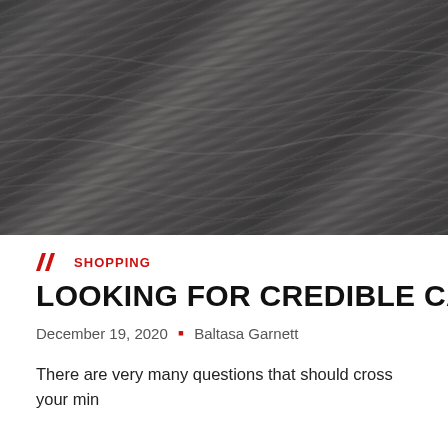[Figure (photo): Close-up photograph of a dark grey textured car surface, likely a car roof or hood with subtle wave patterns in the metal/paint]
SHOPPING
LOOKING FOR CREDIBLE CAR SHOPS ON
December 19, 2020  •  Baltasa Garnett
There are very many questions that should cross your min